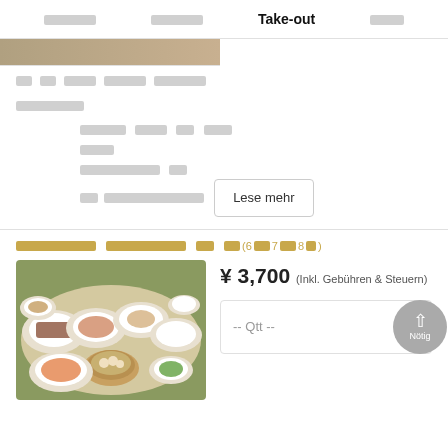□□□□□□  □□□□□□  Take-out  □□□□
[Figure (photo): Partial image strip at top]
□□  □□  □□□□  □□□□□  □□□□□□
□□□□□□□
□□□□□  □□□□  □□  □□□
□□□□
□□□□□□□□□  □□
□□  □□□□□□□□□□□□□
Lese mehr
□□□□□□□□□□  □□□□□□□□□□  □□  □□(6□□7□□8□)
[Figure (photo): Chinese dim sum / multi-dish meal spread on table with white plates]
¥ 3,700 (Inkl. Gebühren & Steuern)
-- Qtt --
Nötig